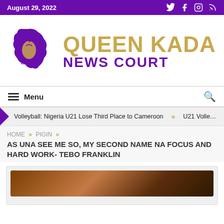August 29, 2022
[Figure (logo): Queen Kada News Court logo with purple map/figure icon and gold and purple text]
Menu
Volleyball: Nigeria U21 Lose Third Place to Cameroon » U21 Volle…
HOME » PIGIN » AS UNA SEE ME SO, MY SECOND NAME NA FOCUS AND HARD WORK- TEBO FRANKLIN
[Figure (photo): Partial photo visible at bottom of article card]